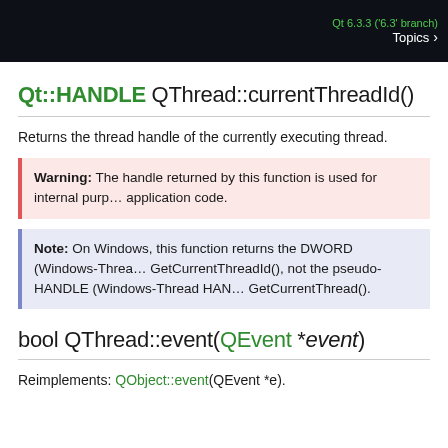Qt 6.3.3 ('6.3' branch) Topics >
Qt::HANDLE QThread::currentThreadId()
Returns the thread handle of the currently executing thread.
Warning: The handle returned by this function is used for internal purposes and should not be used in application code.
Note: On Windows, this function returns the DWORD (Windows-Thread ID) returned by GetCurrentThreadId(), not the pseudo-HANDLE (Windows-Thread HANDLE) returned by GetCurrentThread().
bool QThread::event(QEvent *event)
Reimplements: QObject::event(QEvent *e).